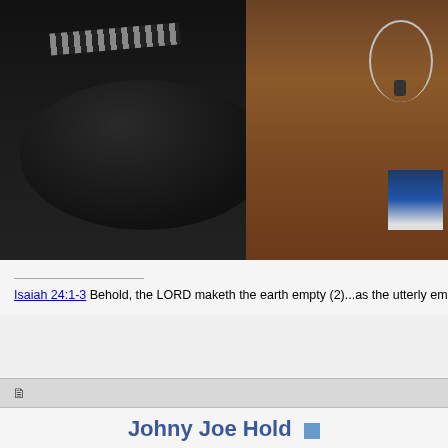[Figure (photo): Close-up photo showing the back of a police officer in a dark uniform with a striped collar and gold button, alongside another person on the right with tan/hairy skin, a silver necklace with pendant, and a blue badge or vest area.]
Isaiah 24:1-3 Behold, the LORD maketh the earth empty (2)...as the utterly emptied, and utterly spoiled: for the LORD hath spoken his wo
Johny Joe Hold